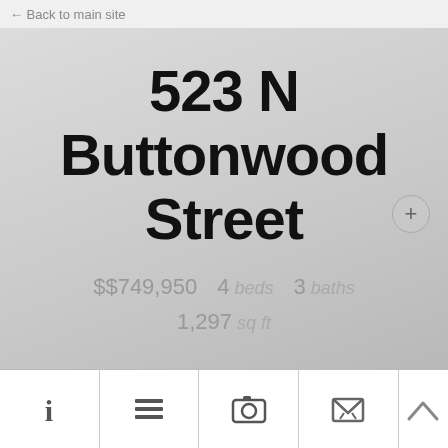← Back to main site
523 N Buttonwood Street
$$749,950   4  beds   3  baths   1,297  sq ft
[Figure (infographic): Bottom navigation bar with icons: info (i), list, camera, envelope, and an up arrow]
[Figure (other): Circular plus (+) button overlay on hero section]